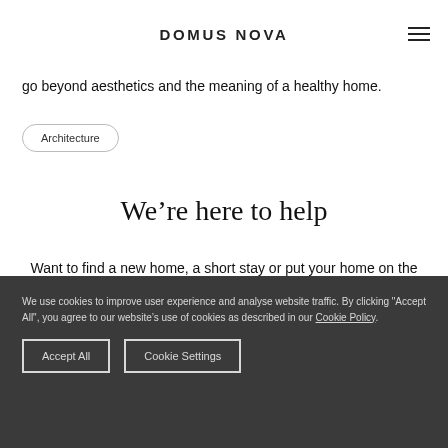DOMUS NOVA
go beyond aesthetics and the meaning of a healthy home.
Architecture
We're here to help
Want to find a new home, a short stay or put your home on the market?
We use cookies to improve user experience and analyse website traffic. By clicking "Accept All", you agree to our website's use of cookies as described in our Cookie Policy.
Accept All
Cookie Settings